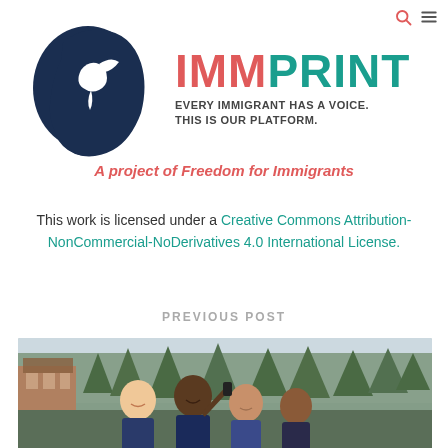[Figure (logo): IMMPrint logo: dark navy blue silhouette of a human head with a white bird (dove) inside, facing right]
IMMPRINT
EVERY IMMIGRANT HAS A VOICE. THIS IS OUR PLATFORM.
A project of Freedom for Immigrants
This work is licensed under a Creative Commons Attribution-NonCommercial-NoDerivatives 4.0 International License.
PREVIOUS POST
[Figure (photo): Group of four people smiling outdoors, trees and a lodge-style building in the background]